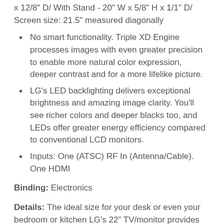x 12/8" D/ With Stand - 20" W x 5/8" H x 1/1" D/ Screen size: 21.5" measured diagonally
No smart functionality. Triple XD Engine processes images with even greater precision to enable more natural color expression, deeper contrast and for a more lifelike picture.
LG's LED backlighting delivers exceptional brightness and amazing image clarity. You'll see richer colors and deeper blacks too, and LEDs offer greater energy efficiency compared to conventional LCD monitors.
Inputs: One (ATSC) RF In (Antenna/Cable). One HDMI
Binding: Electronics
Details: The ideal size for your desk or even your bedroom or kitchen LG's 22" TV/monitor provides convenient Full HD viewing versatility. The clarity of Full